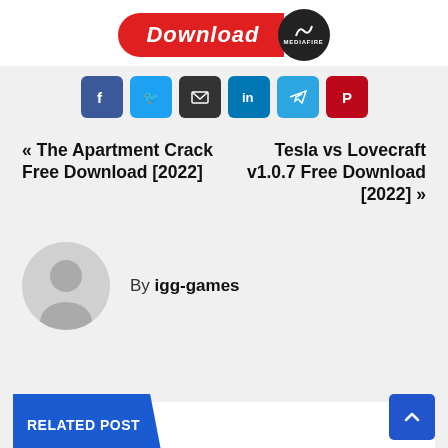[Figure (screenshot): Download button with red background and 'Download' italic text, alongside MediaFire dark circular badge]
[Figure (infographic): Social share icon buttons: Facebook (blue), Twitter (light blue), Email (dark), LinkedIn (blue), Telegram (light blue), Pinterest (red)]
« The Apartment Crack Free Download [2022]
Tesla vs Lovecraft v1.0.7 Free Download [2022] »
By igg-games
[Figure (illustration): Gray default user avatar circle with person silhouette]
RELATED POST